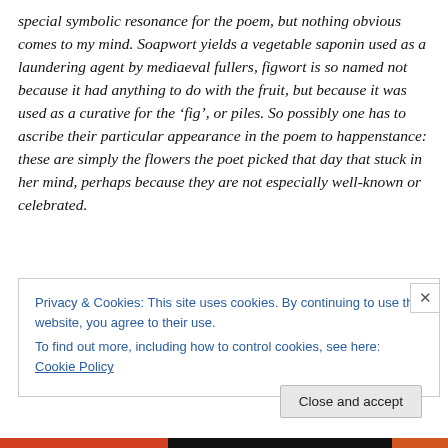special symbolic resonance for the poem, but nothing obvious comes to my mind. Soapwort yields a vegetable saponin used as a laundering agent by mediaeval fullers, figwort is so named not because it had anything to do with the fruit, but because it was used as a curative for the ‘fig’, or piles. So possibly one has to ascribe their particular appearance in the poem to happenstance: these are simply the flowers the poet picked that day that stuck in her mind, perhaps because they are not especially well-known or celebrated.
Privacy & Cookies: This site uses cookies. By continuing to use this website, you agree to their use.
To find out more, including how to control cookies, see here: Cookie Policy
Close and accept